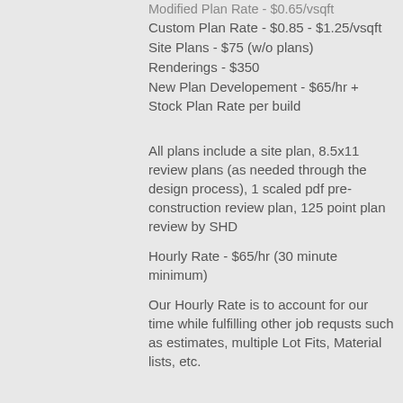Modified Plan Rate - $0.65/vsqft
Custom Plan Rate - $0.85 - $1.25/vsqft
Site Plans - $75 (w/o plans)
Renderings - $350
New Plan Developement - $65/hr + Stock Plan Rate per build
All plans include a site plan, 8.5x11 review plans (as needed through the design process), 1 scaled pdf pre-construction review plan, 125 point plan review by SHD
Hourly Rate - $65/hr (30 minute minimum)
Our Hourly Rate is to account for our time while fulfilling other job requsts such as estimates, multiple Lot Fits, Material lists, etc.